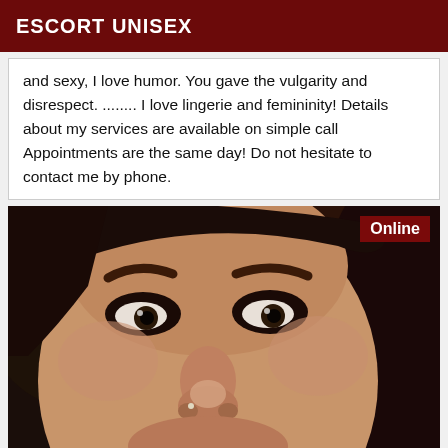ESCORT UNISEX
and sexy, I love humor. You gave the vulgarity and disrespect. ........ I love lingerie and femininity! Details about my services are available on simple call Appointments are the same day! Do not hesitate to contact me by phone.
[Figure (photo): Close-up selfie photo of a woman with dark hair, heavy eye makeup with dark eyeshadow, and prominent eyebrows. She is photographed indoors, looking directly at the camera. An 'Online' badge appears in the top-right corner of the photo.]